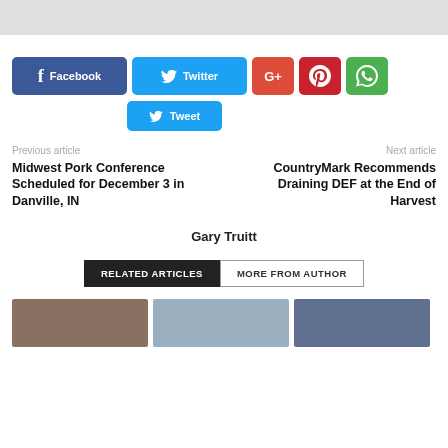[Figure (screenshot): Gray banner at top of page]
[Figure (infographic): Social sharing buttons: Facebook, Twitter, Google+, Pinterest, WhatsApp, and Tweet button]
Previous article
Next article
Midwest Pork Conference Scheduled for December 3 in Danville, IN
CountryMark Recommends Draining DEF at the End of Harvest
Gary Truitt
RELATED ARTICLES
MORE FROM AUTHOR
[Figure (photo): Three article thumbnail images at bottom of page]